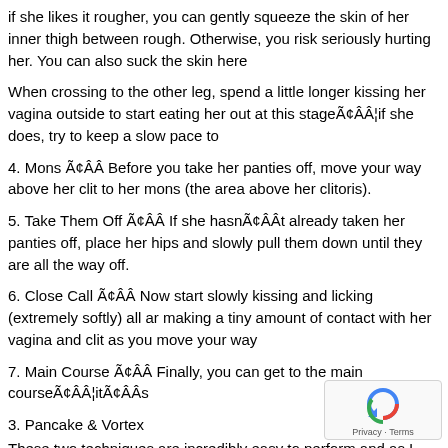if she likes it rougher, you can gently squeeze the skin of her inner thigh between rough. Otherwise, you risk seriously hurting her. You can also suck the skin here
When crossing to the other leg, spend a little longer kissing her vagina outside to start eating her out at this stageÃ¢ÂÂ¦if she does, try to keep a slow pace to
4. Mons Ã¢ÂÂ Before you take her panties off, move your way above her clit to her mons (the area above her clitoris).
5. Take Them Off Ã¢ÂÂ If she hasnÃ¢ÂÂt already taken her panties off, place her hips and slowly pull them down until they are all the way off.
6. Close Call Ã¢ÂÂ Now start slowly kissing and licking (extremely softly) all ar making a tiny amount of contact with her vagina and clit as you move your way
7. Main Course Ã¢ÂÂ Finally, you can get to the main courseÃ¢ÂÂ¦itÃ¢ÂÂs
3. Pancake & Vortex
These two techniques are incredibly easy to perform and as I said earlier, will b give her when eating out her pussy. They are the:
The Pancake
The Vortex.
The Pancake
The Pancake is crazy simple.